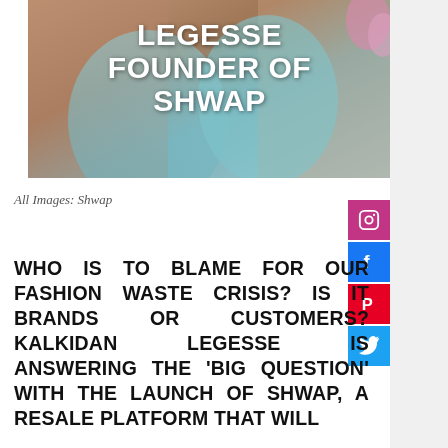[Figure (photo): Photo of two women wearing light blue/teal clothing, embracing, against a stone wall background. Large white bold text overlaid reads 'LEGESSE FOUNDER OF SHWAP'.]
All Images: Shwap
WHO IS TO BLAME FOR OUR FASHION WASTE CRISIS? IS IT BRANDS OR CUSTOMERS? KALKIDAN LEGESSE IS ANSWERING THE 'BIG QUESTION' WITH THE LAUNCH OF SHWAP, A RESALE PLATFORM THAT WILL